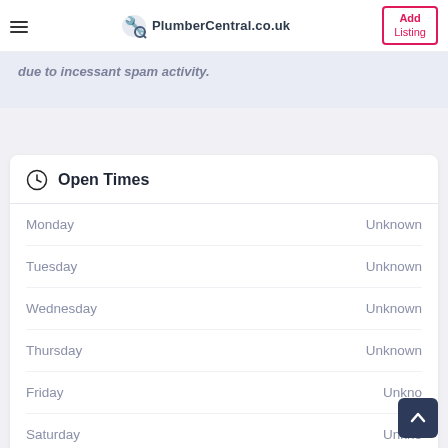PlumberCentral.co.uk — Add Listing
due to incessant spam activity.
Open Times
| Day | Status |
| --- | --- |
| Monday | Unknown |
| Tuesday | Unknown |
| Wednesday | Unknown |
| Thursday | Unknown |
| Friday | Unknown |
| Saturday | Unknown |